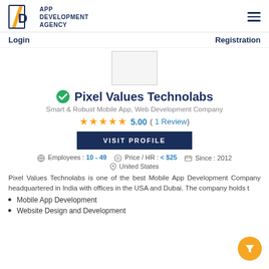APP DEVELOPMENT AGENCY
Login | Registration
[Figure (logo): Company logo placeholder box]
Pixel Values Technolabs
Smart & Robust Mobile App, Web Development Company
5.00 ( 1 Review)
VISIT PROFILE
Employees : 10 - 49   Price / HR : < $25   Since : 2012
United States
Pixel Values Technolabs is one of the best Mobile App Development Company headquartered in India with offices in the USA and Dubai. The company holds t
Mobile App Development
Website Design and Development